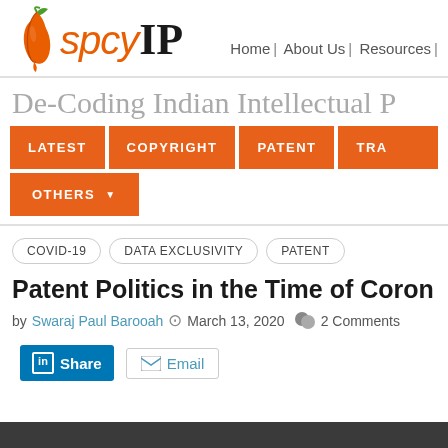[Figure (logo): SpicyIP logo with orange chili pepper graphic and text 'spicyIP']
Home | About Us | Resources |
De-Coding Indian Intellectual P
LATEST | COPYRIGHT | PATENT | TRA | OTHERS
COVID-19   DATA EXCLUSIVITY   PATENT
Patent Politics in the Time of Coron
by Swaraj Paul Barooah  ⊙ March 13, 2020  🗨 2 Comments
Share   Email